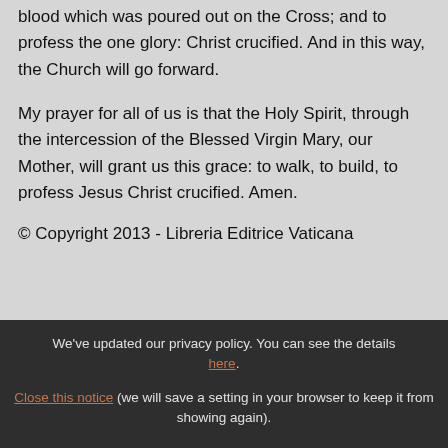blood which was poured out on the Cross; and to profess the one glory: Christ crucified. And in this way, the Church will go forward.
My prayer for all of us is that the Holy Spirit, through the intercession of the Blessed Virgin Mary, our Mother, will grant us this grace: to walk, to build, to profess Jesus Christ crucified. Amen.
© Copyright 2013 - Libreria Editrice Vaticana
We've updated our privacy policy. You can see the details here. Close this notice (we will save a setting in your browser to keep it from showing again).